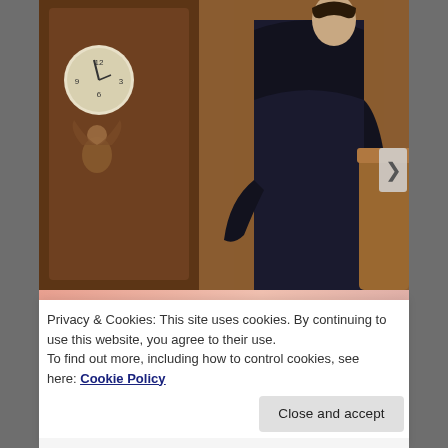[Figure (photo): A young man in a dark coat standing with his back turned, next to an ornately carved wooden clock featuring an angelic figure. The setting appears to be a grand wooden interior.]
Privacy & Cookies: This site uses cookies. By continuing to use this website, you agree to their use.
To find out more, including how to control cookies, see here: Cookie Policy
Close and accept